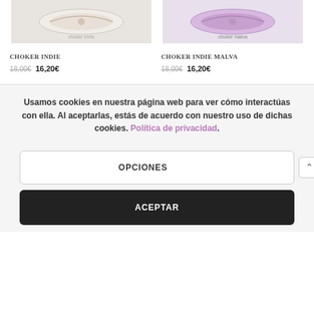[Figure (photo): Photo of a white choker indie accessory with floral/butterfly embroidery on a light background]
[Figure (photo): Photo of a purple/mauve choker indie accessory with floral embroidery on a light background]
Choker indie
Choker indie malva
18,00€ 16,20€
18,00€ 16,20€
Usamos cookies en nuestra página web para ver cómo interactúas con ella. Al aceptarlas, estás de acuerdo con nuestro uso de dichas cookies. Política de privacidad.
OPCIONES
ACEPTAR